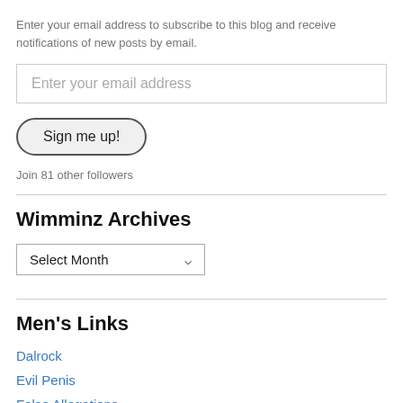Enter your email address to subscribe to this blog and receive notifications of new posts by email.
Enter your email address
Sign me up!
Join 81 other followers
Wimminz Archives
Select Month
Men's Links
Dalrock
Evil Penis
False Allegations